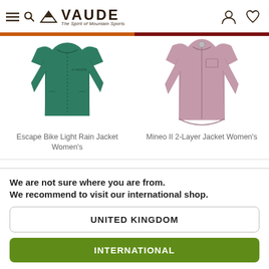[Figure (logo): VAUDE logo with mountain symbol and tagline 'The Spirit of Mountain Sports', navigation icons for menu, search, user account, and wishlist]
[Figure (photo): Two women's jackets: left is Escape Bike Light Rain Jacket in green, right is Mineo II 2-Layer Jacket in pink/mauve]
Escape Bike Light Rain Jacket Women's
Mineo II 2-Layer Jacket Women's
We are not sure where you are from.
We recommend to visit our international shop.
UNITED KINGDOM
INTERNATIONAL